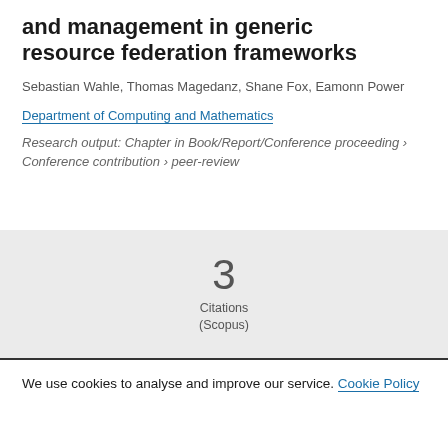and management in generic resource federation frameworks
Sebastian Wahle, Thomas Magedanz, Shane Fox, Eamonn Power
Department of Computing and Mathematics
Research output: Chapter in Book/Report/Conference proceeding › Conference contribution › peer-review
3
Citations
(Scopus)
We use cookies to analyse and improve our service. Cookie Policy